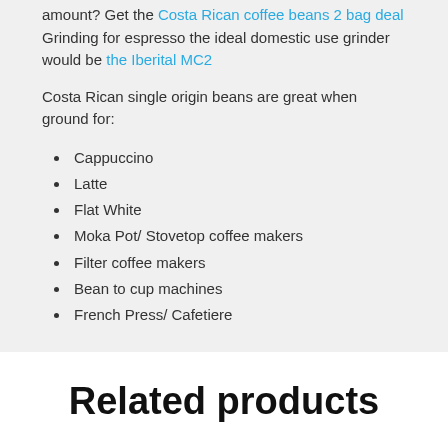amount? Get the Costa Rican coffee beans 2 bag deal Grinding for espresso the ideal domestic use grinder would be the Iberital MC2
Costa Rican single origin beans are great when ground for:
Cappuccino
Latte
Flat White
Moka Pot/ Stovetop coffee makers
Filter coffee makers
Bean to cup machines
French Press/ Cafetiere
Related products